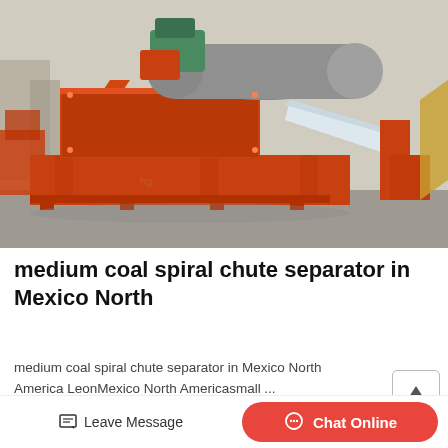[Figure (photo): Industrial orange magnetic separator / spiral chute machine on factory floor, showing a large cylindrical drum with orange frame, diagonal bracing, and conveyor trough]
medium coal spiral chute separator in Mexico North
medium coal spiral chute separator in Mexico North America LeonMexico North Americasmall...